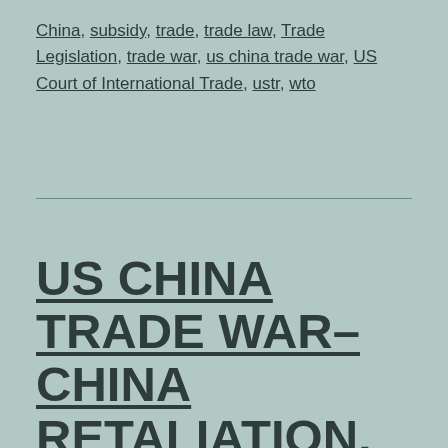China, subsidy, trade, trade law, Trade Legislation, trade war, us china trade war, US Court of International Trade, ustr, wto
US CHINA TRADE WAR–CHINA RETALIATION, 201 REMEDIES, VITAMIN C, TRUMP AND